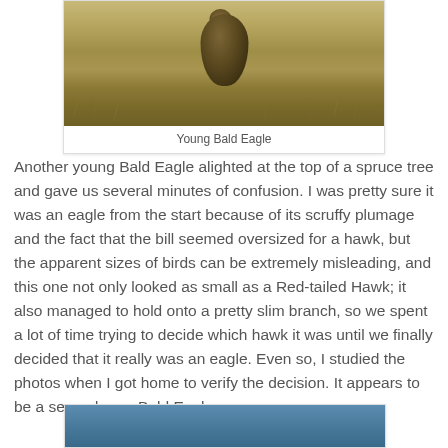[Figure (photo): Young Bald Eagle standing on grassy ground, photographed from a distance]
Young Bald Eagle
Another young Bald Eagle alighted at the top of a spruce tree and gave us several minutes of confusion. I was pretty sure it was an eagle from the start because of its scruffy plumage and the fact that the bill seemed oversized for a hawk, but the apparent sizes of birds can be extremely misleading, and this one not only looked as small as a Red-tailed Hawk; it also managed to hold onto a pretty slim branch, so we spent a lot of time trying to decide which hawk it was until we finally decided that it really was an eagle. Even so, I studied the photos when I got home to verify the decision. It appears to be a second-year Bald Eagle.
[Figure (photo): Partial view of another bird photograph, blue-sky background, cropped at bottom of page]